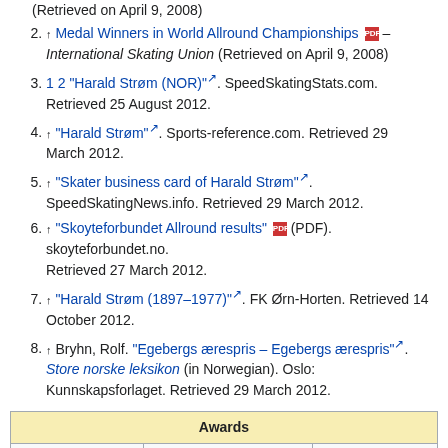(Retrieved on April 9, 2008)
↑ Medal Winners in World Allround Championships [PDF] – International Skating Union (Retrieved on April 9, 2008)
1 2 "Harald Strøm (NOR)" [ext]. SpeedSkatingStats.com. Retrieved 25 August 2012.
↑ "Harald Strøm" [ext]. Sports-reference.com. Retrieved 29 March 2012.
↑ "Skater business card of Harald Strøm" [ext]. SpeedSkatingNews.info. Retrieved 29 March 2012.
↑ "Skoyteforbundet Allround results" [PDF]. skoyteforbundet.no. Retrieved 27 March 2012.
↑ "Harald Strøm (1897–1977)" [ext]. FK Ørn-Horten. Retrieved 14 October 2012.
↑ Bryhn, Rolf. "Egebergs ærespris – Egebergs ærespris" [ext]. Store norske leksikon (in Norwegian). Oslo: Kunnskapsforlaget. Retrieved 29 March 2012.
| Preceded by
Helge Løvland | Egebergs Ærespris
1921 | Succeeded by
Ole Reistad |
| --- | --- | --- |
World champions in men's allround speed skating